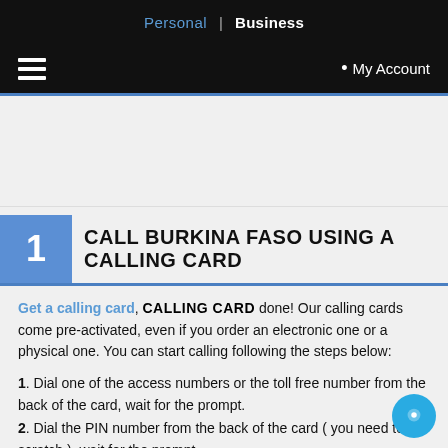Personal | Business
≡  • My Account
[Figure (other): Advertisement banner area (blank/grey)]
1  CALL BURKINA FASO USING A CALLING CARD
Get a calling card, and you're done! Our calling cards come pre-activated, even if you order an electronic one or a physical one. You can start calling following the steps below:
1. Dial one of the access numbers or the toll free number from the back of the card, wait for the prompt.
2. Dial the PIN number from the back of the card ( you need to scratch ), wait for the prompt.